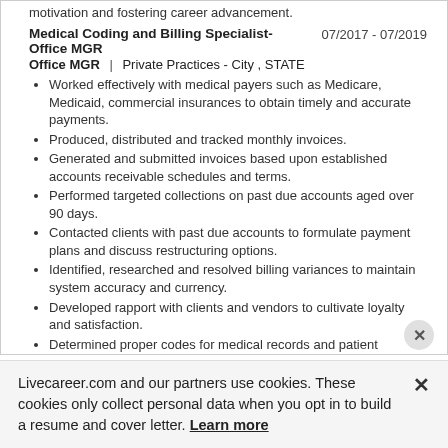motivation and fostering career advancement.
Medical Coding and Billing Specialist- Office MGR  |  Private Practices - City , STATE   07/2017 - 07/2019
Worked effectively with medical payers such as Medicare, Medicaid, commercial insurances to obtain timely and accurate payments.
Produced, distributed and tracked monthly invoices.
Generated and submitted invoices based upon established accounts receivable schedules and terms.
Performed targeted collections on past due accounts aged over 90 days.
Contacted clients with past due accounts to formulate payment plans and discuss restructuring options.
Identified, researched and resolved billing variances to maintain system accuracy and currency.
Developed rapport with clients and vendors to cultivate loyalty and satisfaction.
Determined proper codes for medical records and patient services.
Executed billing tasks and recorded information in company databases.
Livecareer.com and our partners use cookies. These cookies only collect personal data when you opt in to build a resume and cover letter. Learn more